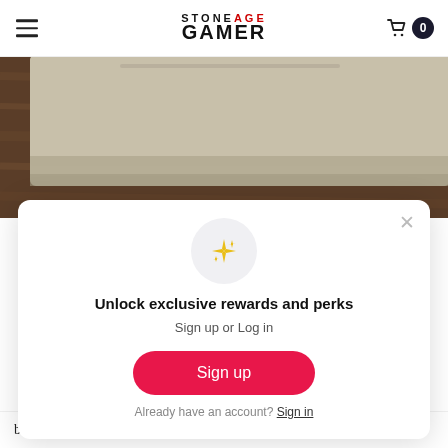Stone Age Gamer — navigation header with logo, hamburger menu, and cart icon showing 0
[Figure (photo): Close-up photo of a beige/cream colored retro gaming console edge resting on a dark wood surface]
[Figure (infographic): Modal popup: sparkle emoji icon in grey circle, heading 'Unlock exclusive rewards and perks', subtext 'Sign up or Log in', pink Sign up button, and 'Already have an account? Sign in' link]
button is still one of the coolest console features of all